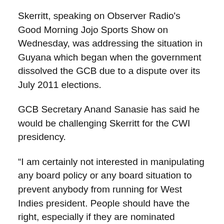Skerritt, speaking on Observer Radio's Good Morning Jojo Sports Show on Wednesday, was addressing the situation in Guyana which began when the government dissolved the GCB due to a dispute over its July 2011 elections.
GCB Secretary Anand Sanasie has said he would be challenging Skerritt for the CWI presidency.
“I am certainly not interested in manipulating any board policy or any board situation to prevent anybody from running for West Indies president. People should have the right, especially if they are nominated properly, to compete and I have no fear of anybody personally because Cricket West Indies will prevail long after I have gone or anybody else is gone. So what is important is that we have proper governance taking place at the local level and that cricket is not in disrepair and confusion and that the people in office are legitimately elected and can